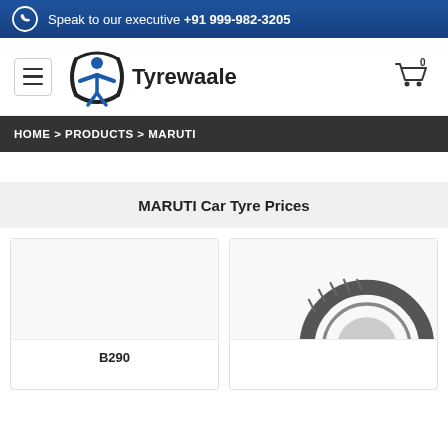Speak to our executive +91 999-982-3205
[Figure (logo): Tyrewaale logo with hamburger menu and cart icon showing 0 items]
HOME > PRODUCTS > MARUTI
MARUTI Car Tyre Prices
[Figure (photo): Product card for B290 tyre - left card with empty white image area and B290 label]
[Figure (photo): Product card for second tyre - right card showing partial tyre image]